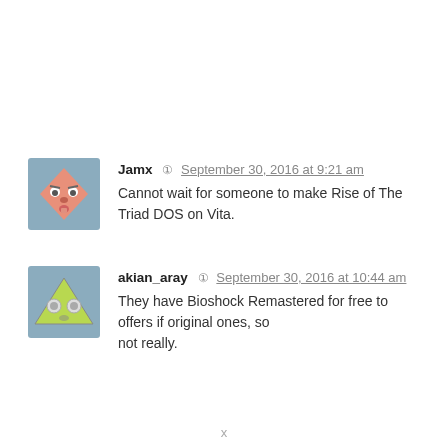[Figure (illustration): Avatar icon for user Jamx: cartoon face on blue-grey background]
Jamx  September 30, 2016 at 9:21 am
Cannot wait for someone to make Rise of The Triad DOS on Vita.
[Figure (illustration): Avatar icon for user akian_aray: pizza slice cartoon on blue-grey background]
akian_aray  September 30, 2016 at 10:44 am
They have Bioshock Remastered for free to offers if original ones, so not really.
x